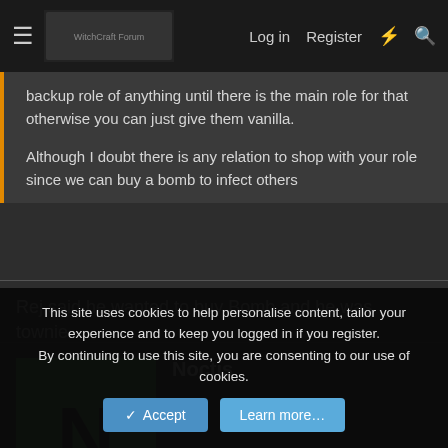≡  [logo]  Log in  Register  ⚡  🔍
backup role of anything until there is the main role for that otherwise you can just give them vanilla.

Although I doubt there is any relation to shop with your role since we can buy a bomb to infect others
Rej said he wanted to buy Bomb and he was townie.
Noctis
[Figure (illustration): Green square avatar with the letter N in large black text, representing the user Noctis]
This site uses cookies to help personalise content, tailor your experience and to keep you logged in if you register.
By continuing to use this site, you are consenting to our use of cookies.